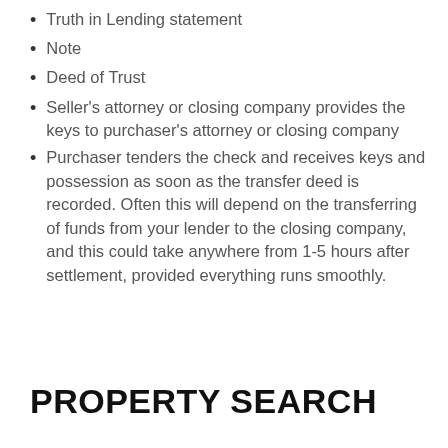Truth in Lending statement
Note
Deed of Trust
Seller's attorney or closing company provides the keys to purchaser's attorney or closing company
Purchaser tenders the check and receives keys and possession as soon as the transfer deed is recorded. Often this will depend on the transferring of funds from your lender to the closing company, and this could take anywhere from 1-5 hours after settlement, provided everything runs smoothly.
PROPERTY SEARCH